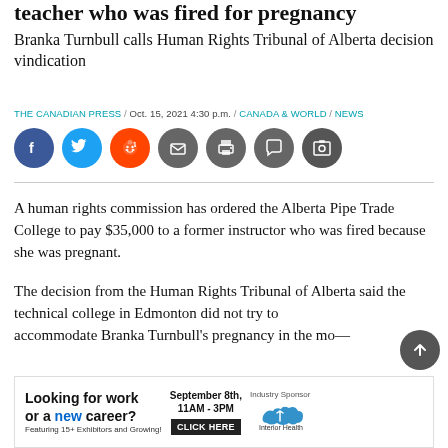teacher who was fired for pregnancy
Branka Turnbull calls Human Rights Tribunal of Alberta decision vindication
THE CANADIAN PRESS / Oct. 15, 2021 4:30 p.m. / CANADA & WORLD / NEWS
[Figure (other): Social sharing icons: Facebook, Twitter, Reddit, Email, Print, Comment, Photo]
A human rights commission has ordered the Alberta Pipe Trade College to pay $35,000 to a former instructor who was fired because she was pregnant.
The decision from the Human Rights Tribunal of Alberta said the technical college in Edmonton did not try to accommodate Branka Turnbull's pregnancy in the mo—
[Figure (infographic): Advertisement banner: Looking for work or a new career? Featuring 15+ Exhibitors and Growing! September 8th, 11AM-3PM. CLICK HERE. Industry Sponsor: Interior Health]